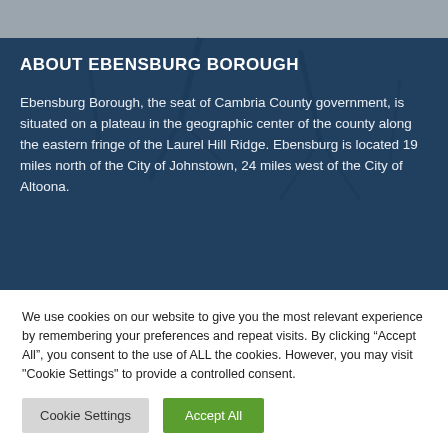[Figure (photo): Hero background image of Ebensburg Borough with a dark blue overlay, showing a map or aerial/tree scene, with a light gray strip at the very top.]
ABOUT EBENSBURG BOROUGH
Ebensburg Borough, the seat of Cambria County government, is situated on a plateau in the geographic center of the county along the eastern fringe of the Laurel Hill Ridge. Ebensburg is located 19 miles north of the City of Johnstown, 24 miles west of the City of Altoona.
We use cookies on our website to give you the most relevant experience by remembering your preferences and repeat visits. By clicking “Accept All”, you consent to the use of ALL the cookies. However, you may visit "Cookie Settings" to provide a controlled consent.